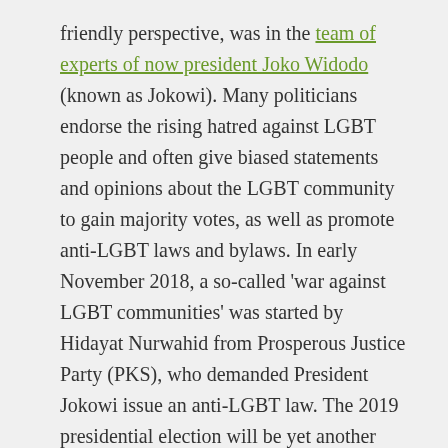friendly perspective, was in the team of experts of now president Joko Widodo (known as Jokowi). Many politicians endorse the rising hatred against LGBT people and often give biased statements and opinions about the LGBT community to gain majority votes, as well as promote anti-LGBT laws and bylaws. In early November 2018, a so-called 'war against LGBT communities' was started by Hidayat Nurwahid from Prosperous Justice Party (PKS), who demanded President Jokowi issue an anti-LGBT law. The 2019 presidential election will be yet another battleground for politicians against the LGBT community; it is highly likely that most affected group in this war will be already vulnerable transwomen.